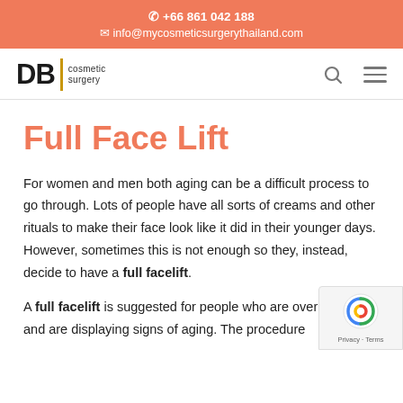📞 +66 861 042 188
✉ info@mycosmeticsurgerythailand.com
[Figure (logo): DBI Cosmetic Surgery logo with gold vertical bar]
Full Face Lift
For women and men both aging can be a difficult process to go through. Lots of people have all sorts of creams and other rituals to make their face look like it did in their younger days. However, sometimes this is not enough so they, instead, decide to have a full facelift.
A full facelift is suggested for people who are over the of 40 and are displaying signs of aging. The procedure